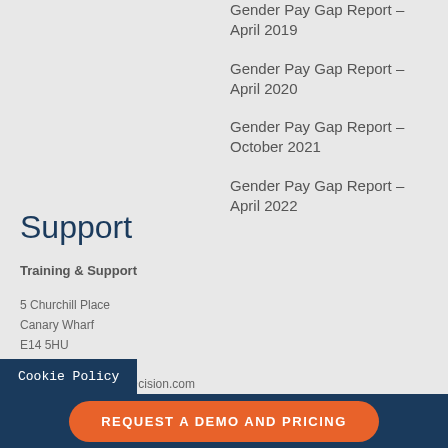Gender Pay Gap Report – April 2019
Gender Pay Gap Report – April 2020
Gender Pay Gap Report – October 2021
Gender Pay Gap Report – April 2022
Support
Training & Support
5 Churchill Place
Canary Wharf
E14 5HU
+44 (0)20 7674 0300
UKcustomersupport@cision.com
Cookie Policy
REQUEST A DEMO AND PRICING